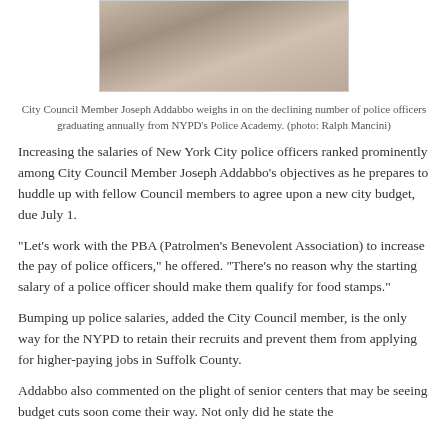[Figure (photo): Photo of City Council Member Joseph Addabbo at an event, shown from behind amid a crowd of people.]
City Council Member Joseph Addabbo weighs in on the declining number of police officers graduating annually from NYPD's Police Academy. (photo: Ralph Mancini)
Increasing the salaries of New York City police officers ranked prominently among City Council Member Joseph Addabbo’s objectives as he prepares to huddle up with fellow Council members to agree upon a new city budget, due July 1.
“Let’s work with the PBA (Patrolmen’s Benevolent Association) to increase the pay of police officers,” he offered. “There’s no reason why the starting salary of a police officer should make them qualify for food stamps.”
Bumping up police salaries, added the City Council member, is the only way for the NYPD to retain their recruits and prevent them from applying for higher-paying jobs in Suffolk County.
Addabbo also commented on the plight of senior centers that may be seeing budget cuts soon come their way. Not only did he state the